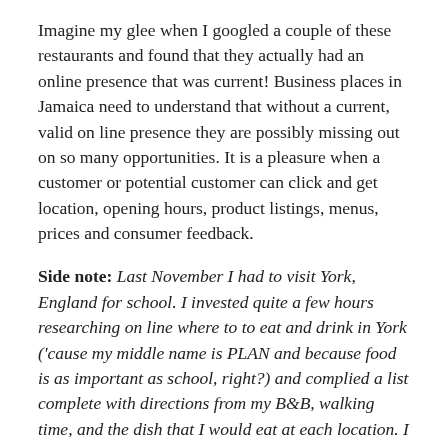Imagine my glee when I googled a couple of these restaurants and found that they actually had an online presence that was current! Business places in Jamaica need to understand that without a current, valid on line presence they are possibly missing out on so many opportunities. It is a pleasure when a customer or potential customer can click and get location, opening hours, product listings, menus, prices and consumer feedback.
Side note: Last November I had to visit York, England for school. I invested quite a few hours researching on line where to to eat and drink in York ('cause my middle name is PLAN and because food is as important as school, right?) and complied a list complete with directions from my B&B, walking time, and the dish that I would eat at each location. I also knew what it would cost me. And so I, travelling as a single woman, first time visitor to York had a blast